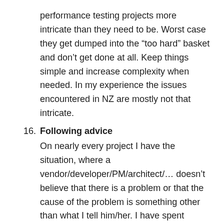performance testing projects more intricate than they need to be. Worst case they get dumped into the “too hard” basket and don’t get done at all. Keep things simple and increase complexity when needed. In my experience the issues encountered in NZ are mostly not that intricate.
16. Following advice
On nearly every project I have the situation, where a vendor/developer/PM/architect/… doesn’t believe that there is a problem or that the cause of the problem is something other than what I tell him/her. I have spent weeks waiting and trying to convince people to look at XYZ without success. Time and effort wasted, just to come back to XYZ and find it’s exactly what is causing it. I am not saying that I or performance testers are infallible (far from it actually). But it would